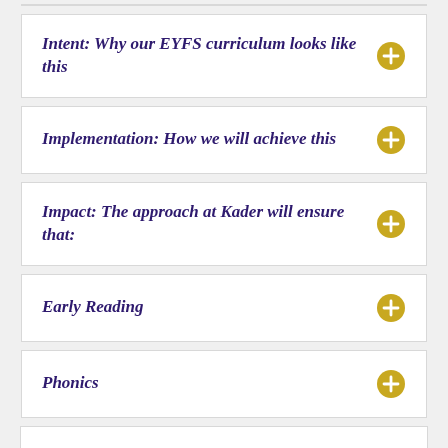Intent: Why our EYFS curriculum looks like this
Implementation: How we will achieve this
Impact: The approach at Kader will ensure that:
Early Reading
Phonics